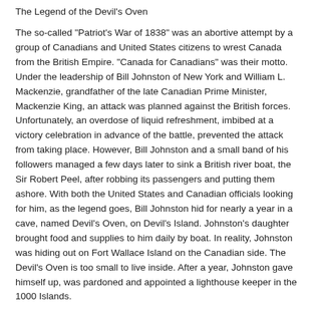The Legend of the Devil's Oven
The so-called "Patriot's War of 1838" was an abortive attempt by a group of Canadians and United States citizens to wrest Canada from the British Empire. "Canada for Canadians" was their motto. Under the leadership of Bill Johnston of New York and William L. Mackenzie, grandfather of the late Canadian Prime Minister, Mackenzie King, an attack was planned against the British forces. Unfortunately, an overdose of liquid refreshment, imbibed at a victory celebration in advance of the battle, prevented the attack from taking place. However, Bill Johnston and a small band of his followers managed a few days later to sink a British river boat, the Sir Robert Peel, after robbing its passengers and putting them ashore. With both the United States and Canadian officials looking for him, as the legend goes, Bill Johnston hid for nearly a year in a cave, named Devil's Oven, on Devil's Island. Johnston's daughter brought food and supplies to him daily by boat. In reality, Johnston was hiding out on Fort Wallace Island on the Canadian side. The Devil's Oven is too small to live inside. After a year, Johnston gave himself up, was pardoned and appointed a lighthouse keeper in the 1000 Islands.